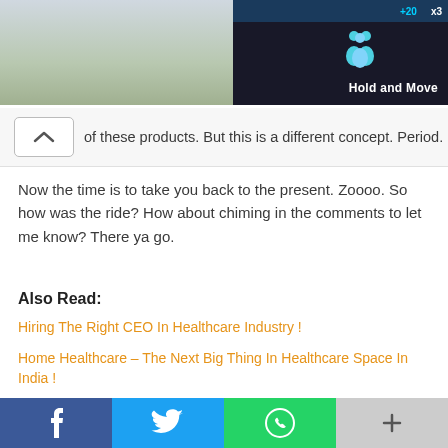[Figure (screenshot): Top portion of a webpage with a dark background image on the right side showing a 'Hold and Move' label and counter bar with +20 and x3 indicators, and people icon.]
of these products. But this is a different concept. Period.
Now the time is to take you back to the present. Zoooo. So how was the ride? How about chiming in the comments to let me know? There ya go.
Also Read:
Hiring The Right CEO In Healthcare Industry !
Home Healthcare – The Next Big Thing In Healthcare Space In India !
#VikasKaBudget 2016: Upgrading Indian healthcare
[Figure (screenshot): Bottom social sharing bar with Facebook (blue), Twitter (light blue), WhatsApp (green), and More (grey) buttons.]